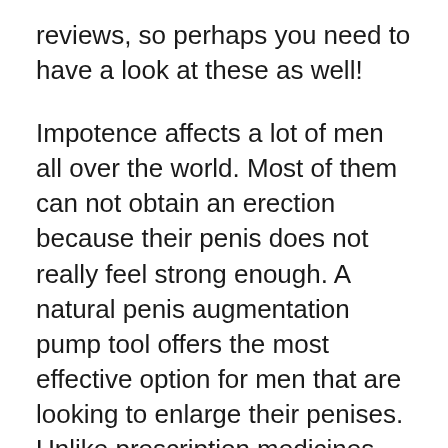reviews, so perhaps you need to have a look at these as well!
Impotence affects a lot of men all over the world. Most of them can not obtain an erection because their penis does not really feel strong enough. A natural penis augmentation pump tool offers the most effective option for men that are looking to enlarge their penises. Unlike prescription medicines that can create serious adverse effects, penis enlargement pump treatments do not have any kind of negative effects.
The active ingredients in a lot of penis pumps are safe. You won’t see anything unusual or odd. A couple of popular penis pumps contain herbal removes, such as